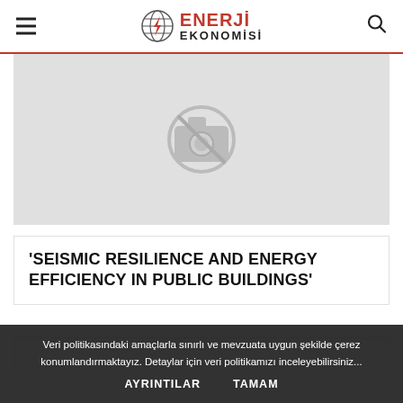ENERJİ EKONOMİSİ
[Figure (illustration): No image placeholder — grey background with a crossed-out camera icon in the center]
'SEISMIC RESILIENCE AND ENERGY EFFICIENCY IN PUBLIC BUILDINGS'
Veri politikasındaki amaçlarla sınırlı ve mevzuata uygun şekilde çerez konumlandırmaktayız. Detaylar için veri politikamızı inceleyebilirsiniz...
AYRINTILAR   TAMAM